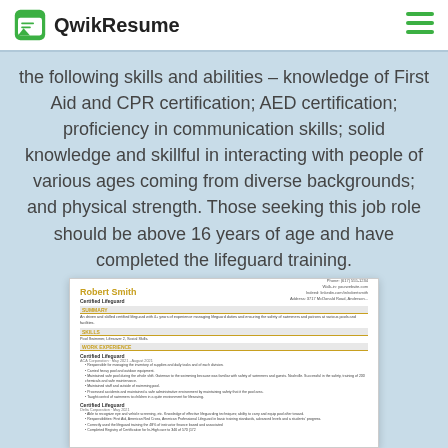QwikResume
the following skills and abilities – knowledge of First Aid and CPR certification; AED certification; proficiency in communication skills; solid knowledge and skillful in interacting with people of various ages coming from diverse backgrounds; and physical strength. Those seeking this job role should be above 16 years of age and have completed the lifeguard training.
[Figure (screenshot): Thumbnail of a resume for Robert Smith, Certified Lifeguard, showing summary, skills, and work experience sections.]